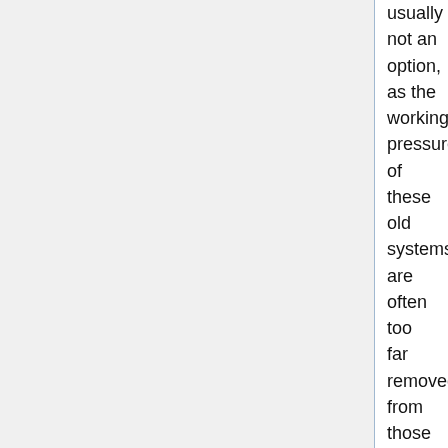usually not an option, as the working pressures of these old systems are often too far removed from those of modern equipment to produce a workable refrigeration cycle. The more toxic of the old refrigerants should be used in a location ventilated and isolated from the main building. Early machines using SO2 generated complaints of foul smells, so they too need a ventilated place.
Butane and pentane work with lower pressures than R12, and may be usable in some cases.
Above is a double width version of the iconic monitor top fridge introduced in 1927, which used sulphur dioxide or methyl formate as a refrigerant. Some of these are still in service today.